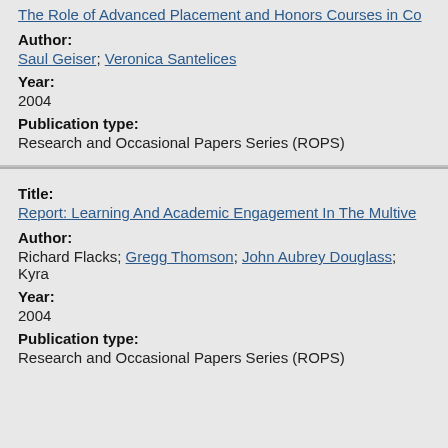The Role of Advanced Placement and Honors Courses in Co
Author:
Saul Geiser; Veronica Santelices
Year:
2004
Publication type:
Research and Occasional Papers Series (ROPS)
Title:
Report: Learning And Academic Engagement In The Multive
Author:
Richard Flacks; Gregg Thomson; John Aubrey Douglass; Kyra
Year:
2004
Publication type:
Research and Occasional Papers Series (ROPS)